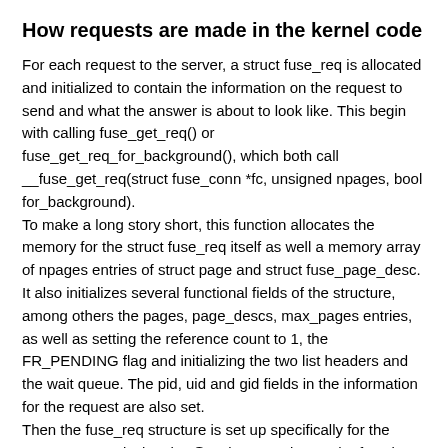How requests are made in the kernel code
For each request to the server, a struct fuse_req is allocated and initialized to contain the information on the request to send and what the answer is about to look like. This begin with calling fuse_get_req() or fuse_get_req_for_background(), which both call __fuse_get_req(struct fuse_conn *fc, unsigned npages, bool for_background).
To make a long story short, this function allocates the memory for the struct fuse_req itself as well a memory array of npages entries of struct page and struct fuse_page_desc. It also initializes several functional fields of the structure, among others the pages, page_descs, max_pages entries, as well as setting the reference count to 1, the FR_PENDING flag and initializing the two list headers and the wait queue. The pid, uid and gid fields in the information for the request are also set.
Then the fuse_req structure is set up specifically for the request. In particular, the @end entry points at the function to call by request_end() following the arrival of a response from the server or the abortion of the request.
The fuse_req has two entries, @in and @out, which are of type fuse_in and fuse_out, respectively. Note that “in” and “out” are from the server’s